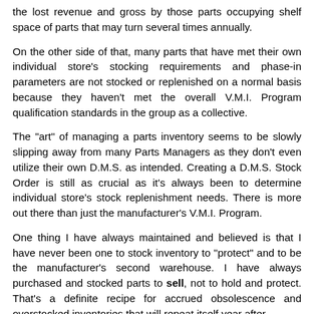the lost revenue and gross by those parts occupying shelf space of parts that may turn several times annually.
On the other side of that, many parts that have met their own individual store's stocking requirements and phase-in parameters are not stocked or replenished on a normal basis because they haven't met the overall V.M.I. Program qualification standards in the group as a collective.
The "art" of managing a parts inventory seems to be slowly slipping away from many Parts Managers as they don't even utilize their own D.M.S. as intended. Creating a D.M.S. Stock Order is still as crucial as it's always been to determine individual store's stock replenishment needs. There is more out there than just the manufacturer's V.M.I. Program.
One thing I have always maintained and believed is that I have never been one to stock inventory to "protect" and to be the manufacturer's second warehouse. I have always purchased and stocked parts to sell, not to hold and protect. That's a definite recipe for accrued obsolescence and overstocked inventories that will repeat itself year after